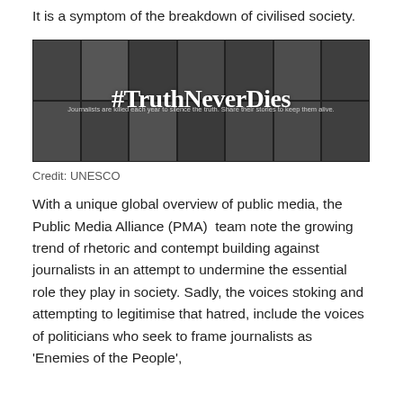It is a symptom of the breakdown of civilised society.
[Figure (photo): A mosaic/collage of journalist portrait photos in greyscale with the text '#TruthNeverDies' overlaid in large white serif font, and the tagline 'Journalists are killed each year to silence the truth. Share their stories to keep them alive.' UNESCO campaign image.]
Credit: UNESCO
With a unique global overview of public media, the Public Media Alliance (PMA)  team note the growing trend of rhetoric and contempt building against journalists in an attempt to undermine the essential role they play in society. Sadly, the voices stoking and attempting to legitimise that hatred, include the voices of politicians who seek to frame journalists as 'Enemies of the People',